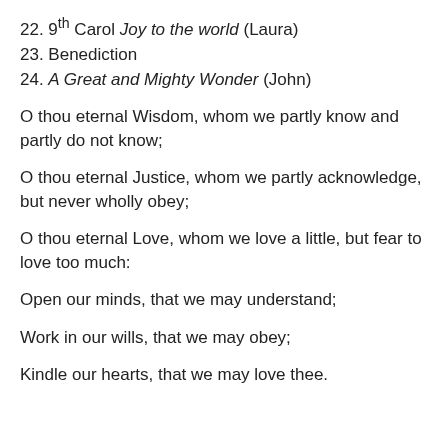22. 9th Carol Joy to the world (Laura)
23. Benediction
24. A Great and Mighty Wonder (John)
O thou eternal Wisdom, whom we partly know and partly do not know;
O thou eternal Justice, whom we partly acknowledge, but never wholly obey;
O thou eternal Love, whom we love a little, but fear to love too much:
Open our minds, that we may understand;
Work in our wills, that we may obey;
Kindle our hearts, that we may love thee.